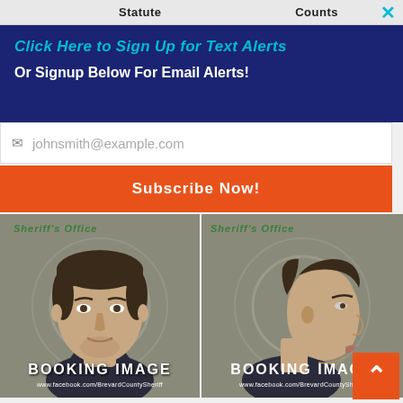Statute   Counts
Click Here to Sign Up for Text Alerts
Or Signup Below For Email Alerts!
johnsmith@example.com
Subscribe Now!
[Figure (photo): Front-facing booking mugshot photo from Brevard County Sheriff's Office. Text overlay reads: BOOKING IMAGE and www.facebook.com/BrevardCountySheriff]
[Figure (photo): Side-profile booking mugshot photo from Brevard County Sheriff's Office. Text overlay reads: BOOKING IMAGE and www.facebook.com/BrevardCountySheriff]
| Field | Value |
| --- | --- |
| Gender | Male |
| Race | White |
| DOB | 04/19/1997 |